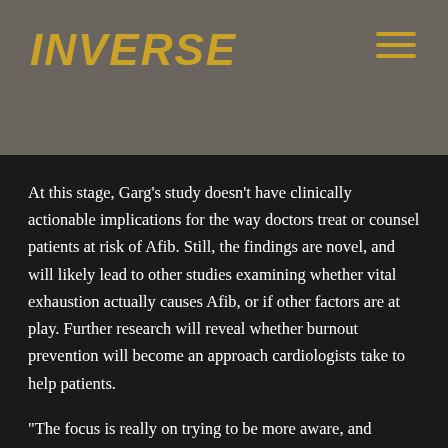INVERSE
At this stage, Garg’s study doesn’t have clinically actionable implications for the way doctors treat or counsel patients at risk of Afib. Still, the findings are novel, and will likely lead to other studies examining whether vital exhaustion actually causes Afib, or if other factors are at play. Further research will reveal whether burnout prevention will become an approach cardiologists take to help patients.
“The focus is really on trying to be more aware, and